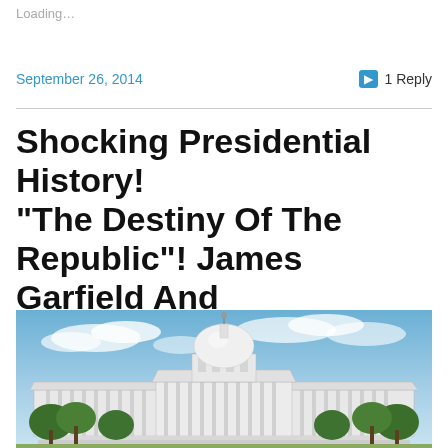Loading...
September 26, 2014
1 Reply
Shocking Presidential History! “The Destiny Of The Republic”! James Garfield And Alexander Graham Bell!
[Figure (photo): Photograph of the United States Capitol building with a blue sky and clouds in the background, surrounded by green trees.]